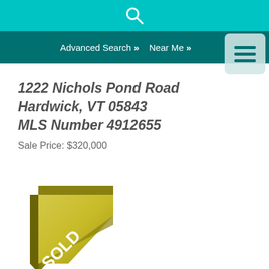Advanced Search >> Near Me >>
1222 Nichols Pond Road
Hardwick, VT 05843
MLS Number 4912655
Sale Price: $320,000
[Figure (illustration): Gold/olive colored folded corner banner with white text reading SOLD]